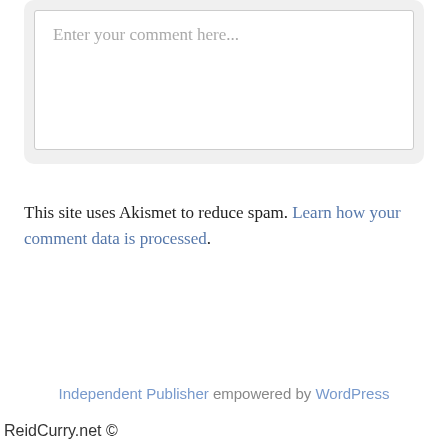Enter your comment here...
This site uses Akismet to reduce spam. Learn how your comment data is processed.
Independent Publisher empowered by WordPress
ReidCurry.net ©